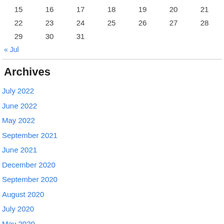| 15 | 16 | 17 | 18 | 19 | 20 | 21 |
| 22 | 23 | 24 | 25 | 26 | 27 | 28 |
| 29 | 30 | 31 |  |  |  |  |
« Jul
Archives
July 2022
June 2022
May 2022
September 2021
June 2021
December 2020
September 2020
August 2020
July 2020
May 2020
November 2019
October 2019